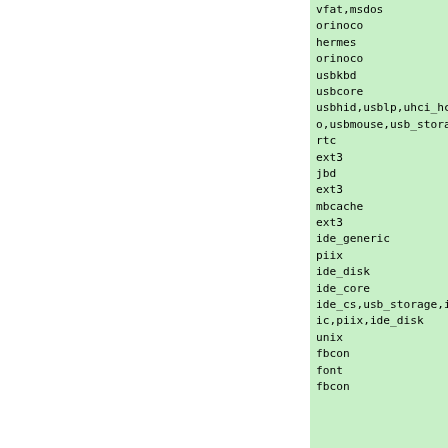vfat,msdos
orinoco                43852  0
hermes                  8608  1
orinoco
usbkbd                  7296  0
usbcore                119396 10
usbhid,usblp,uhci_hcd,ehci_hcd,audi
o,usbmouse,usb_storage,usbkbd
rtc                    12664  0
ext3                  126184  2
jbd                    64056  1
ext3
mbcache                 9220  1
ext3
ide_generic             1280  0
piix                  13216  1
ide_disk               20480  4
ide_core              143024  6
ide_cs,usb_storage,ide_cd,ide_gener
ic,piix,ide_disk
unix                   28564 321
fbcon                  40416  0
font                    8128  1
fbcon